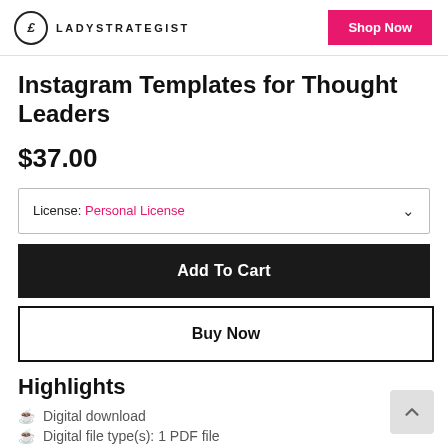LADYSTRATEGIST | Shop Now
Instagram Templates for Thought Leaders
$37.00
License: Personal License
Add To Cart
Buy Now
Highlights
Digital download
Digital file type(s): 1 PDF file